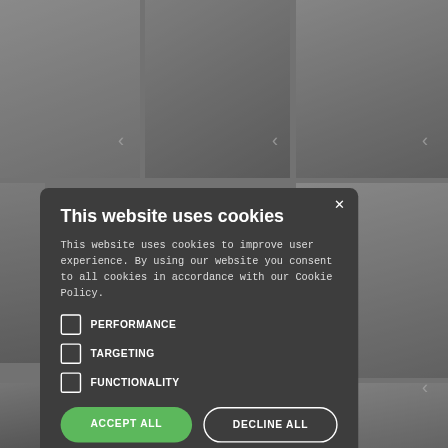[Figure (screenshot): Background collage of multiple people photos on a grey background, partially darkened by overlay. Shows various people including someone with a disco ball, a woman in black dress, a person with DJ equipment, a man with glasses, a woman with a binder, and others.]
This website uses cookies
This website uses cookies to improve user experience. By using our website you consent to all cookies in accordance with our Cookie Policy.
PERFORMANCE
TARGETING
FUNCTIONALITY
ACCEPT ALL
DECLINE ALL
SHOW DETAILS